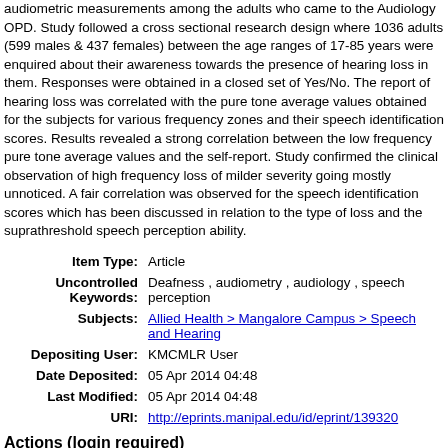audiometric measurements among the adults who came to the Audiology OPD. Study followed a cross sectional research design where 1036 adults (599 males & 437 females) between the age ranges of 17-85 years were enquired about their awareness towards the presence of hearing loss in them. Responses were obtained in a closed set of Yes/No. The report of hearing loss was correlated with the pure tone average values obtained for the subjects for various frequency zones and their speech identification scores. Results revealed a strong correlation between the low frequency pure tone average values and the self-report. Study confirmed the clinical observation of high frequency loss of milder severity going mostly unnoticed. A fair correlation was observed for the speech identification scores which has been discussed in relation to the type of loss and the suprathreshold speech perception ability.
| Field | Value |
| --- | --- |
| Item Type: | Article |
| Uncontrolled Keywords: | Deafness , audiometry , audiology , speech perception |
| Subjects: | Allied Health > Mangalore Campus > Speech and Hearing |
| Depositing User: | KMCMLR User |
| Date Deposited: | 05 Apr 2014 04:48 |
| Last Modified: | 05 Apr 2014 04:48 |
| URI: | http://eprints.manipal.edu/id/eprint/139320 |
Actions (login required)
View Item